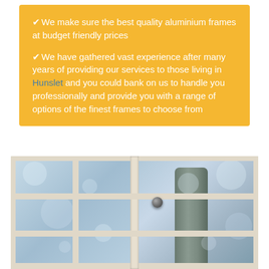✔ We make sure the best quality aluminium frames at budget friendly prices
✔ We have gathered vast experience after many years of providing our services to those living in Hunslet and you could bank on us to handle you professionally and provide you with a range of options of the finest frames to choose from
[Figure (photo): Photo of white-framed window with multiple panes, showing a tree and blue sky in the background, with a door knob visible on the left panel]